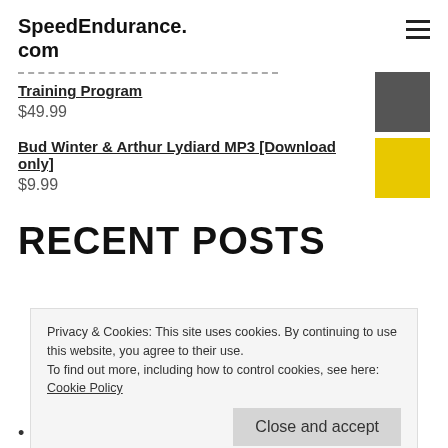SpeedEndurance.com
Training Program
$49.99
Bud Winter & Arthur Lydiard MP3 [Download only]
$9.99
RECENT POSTS
Privacy & Cookies: This site uses cookies. By continuing to use this website, you agree to their use.
To find out more, including how to control cookies, see here: Cookie Policy
Close and accept
The Ultimate 400m Track Webinar for Coaches &